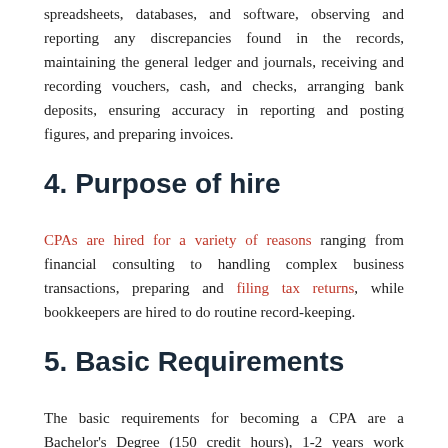spreadsheets, databases, and software, observing and reporting any discrepancies found in the records, maintaining the general ledger and journals, receiving and recording vouchers, cash, and checks, arranging bank deposits, ensuring accuracy in reporting and posting figures, and preparing invoices.
4. Purpose of hire
CPAs are hired for a variety of reasons ranging from financial consulting to handling complex business transactions, preparing and filing tax returns, while bookkeepers are hired to do routine record-keeping.
5. Basic Requirements
The basic requirements for becoming a CPA are a Bachelor's Degree (150 credit hours), 1-2 years work experience (may vary based on jurisdiction) and must sit for and pass the uniform CPA exam. Whereas the minimum requirement to become a bookkeeper is a high-school diploma. See the list of 6 Free Online